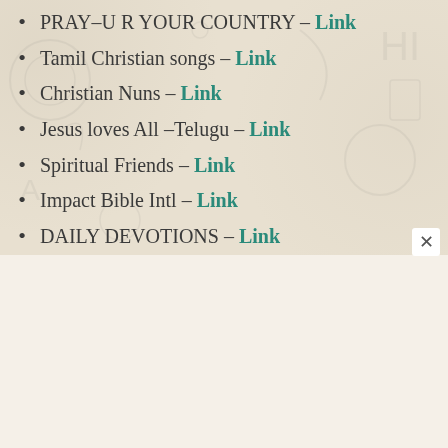PRAY–U R YOUR COUNTRY – Link
Tamil Christian songs – Link
Christian Nuns – Link
Jesus loves All –Telugu – Link
Spiritual Friends – Link
Impact Bible Intl – Link
DAILY DEVOTIONS – Link
TAMIL CHRISTIAN MESSAGE – Link